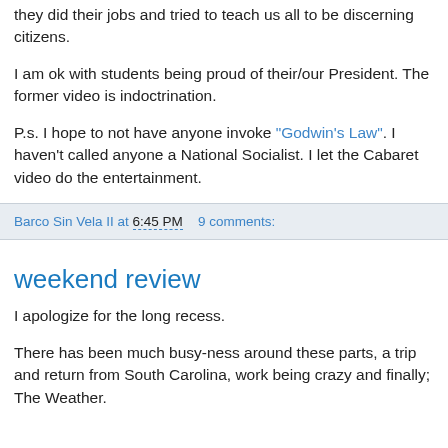they did their jobs and tried to teach us all to be discerning citizens.
I am ok with students being proud of their/our President. The former video is indoctrination.
P.s. I hope to not have anyone invoke "Godwin's Law". I haven't called anyone a National Socialist. I let the Cabaret video do the entertainment.
Barco Sin Vela II at 6:45 PM   9 comments:
weekend review
I apologize for the long recess.
There has been much busy-ness around these parts, a trip and return from South Carolina, work being crazy and finally; The Weather.